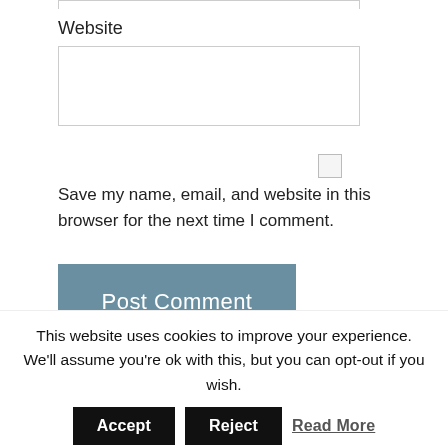Website
Save my name, email, and website in this browser for the next time I comment.
Post Comment
Tick, tock, click the box to comment and defeat the evil spam monsters.
This website uses cookies to improve your experience. We'll assume you're ok with this, but you can opt-out if you wish.
Accept
Reject
Read More